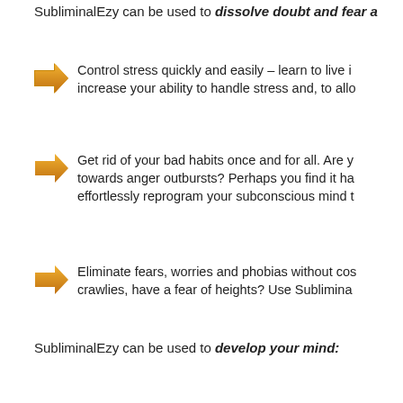SubliminalEzy can be used to dissolve doubt and fear a...
Control stress quickly and easily – learn to live i... increase your ability to handle stress and, to allo...
Get rid of your bad habits once and for all. Are y... towards anger outbursts? Perhaps you find it ha... effortlessly reprogram your subconscious mind t...
Eliminate fears, worries and phobias without cos... crawlies, have a fear of heights? Use Sublimina...
SubliminalEzy can be used to develop your mind:
Accelerate your learning – Become a power lea...
Increase your memory capabilities – flip the swi... access to important memories, recall important...
Increase your ability to learn quickly – multi task... problems, effortlessly discover new possibilities...